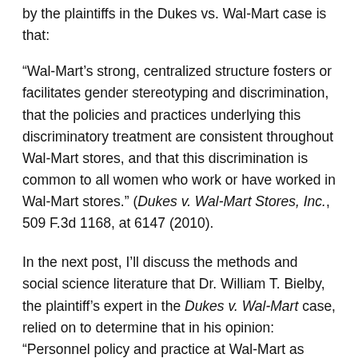by the plaintiffs in the Dukes vs. Wal-Mart case is that:
“Wal-Mart’s strong, centralized structure fosters or facilitates gender stereotyping and discrimination, that the policies and practices underlying this discriminatory treatment are consistent throughout Wal-Mart stores, and that this discrimination is common to all women who work or have worked in Wal-Mart stores.” (Dukes v. Wal-Mart Stores, Inc., 509 F.3d 1168, at 6147 (2010).
In the next post, I’ll discuss the methods and social science literature that Dr. William T. Bielby, the plaintiff’s expert in the Dukes v. Wal-Mart case, relied on to determine that in his opinion: “Personnel policy and practice at Wal-Mart as implemented in the field has features known to be vulnerable to gender bias”.
Dr. Bielby is a sociology professor, and his expert